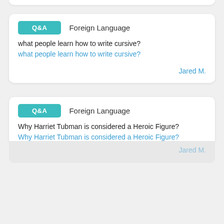Q&A  Foreign Language
what people learn how to write cursive?
what people learn how to write cursive?
Jared M.
Q&A  Foreign Language
Why Harriet Tubman is considered a Heroic Figure?
Why Harriet Tubman is considered a Heroic Figure?
Jared M.